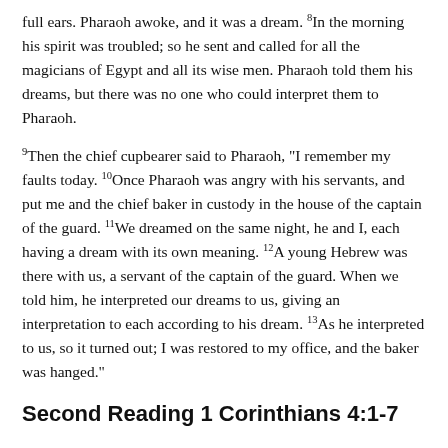full ears. Pharaoh awoke, and it was a dream. 8In the morning his spirit was troubled; so he sent and called for all the magicians of Egypt and all its wise men. Pharaoh told them his dreams, but there was no one who could interpret them to Pharaoh.
9Then the chief cupbearer said to Pharaoh, "I remember my faults today. 10Once Pharaoh was angry with his servants, and put me and the chief baker in custody in the house of the captain of the guard. 11We dreamed on the same night, he and I, each having a dream with its own meaning. 12A young Hebrew was there with us, a servant of the captain of the guard. When we told him, he interpreted our dreams to us, giving an interpretation to each according to his dream. 13As he interpreted to us, so it turned out; I was restored to my office, and the baker was hanged."
Second Reading 1 Corinthians 4:1-7